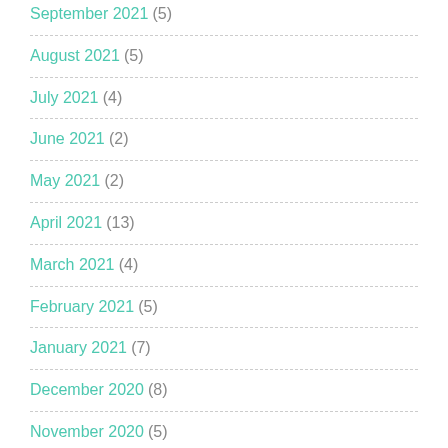September 2021 (5)
August 2021 (5)
July 2021 (4)
June 2021 (2)
May 2021 (2)
April 2021 (13)
March 2021 (4)
February 2021 (5)
January 2021 (7)
December 2020 (8)
November 2020 (5)
October 2020 (10)